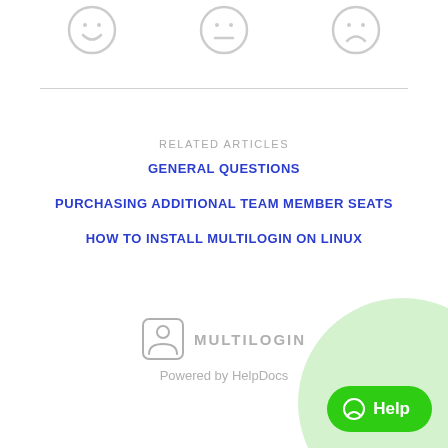[Figure (illustration): Three emoji faces: happy (smiley), neutral, and sad arranged in a row at the top]
RELATED ARTICLES
GENERAL QUESTIONS
PURCHASING ADDITIONAL TEAM MEMBER SEATS
HOW TO INSTALL MULTILOGIN ON LINUX
[Figure (logo): Multilogin logo with user/profile icon and MULTILOGIN text]
Powered by HelpDocs
[Figure (illustration): Green circle with Help button in bottom right corner]